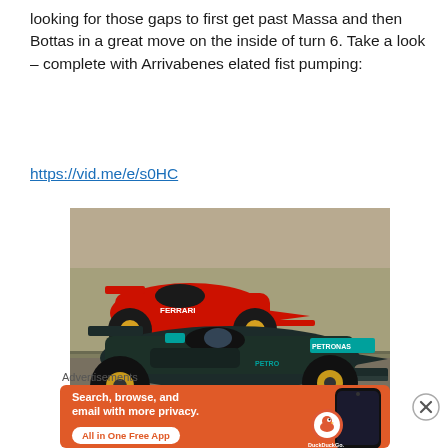looking for those gaps to first get past Massa and then Bottas in a great move on the inside of turn 6. Take a look – complete with Arrivabenes elated fist pumping:
https://vid.me/e/s0HC
[Figure (photo): Formula 1 racing cars on track – a dark grey Mercedes AMG Petronas car in the foreground and a red Ferrari car behind it, racing on a circuit.]
Advertisements
[Figure (infographic): DuckDuckGo advertisement banner on orange background. Text: Search, browse, and email with more privacy. All in One Free App. Shows DuckDuckGo logo and a phone mockup.]